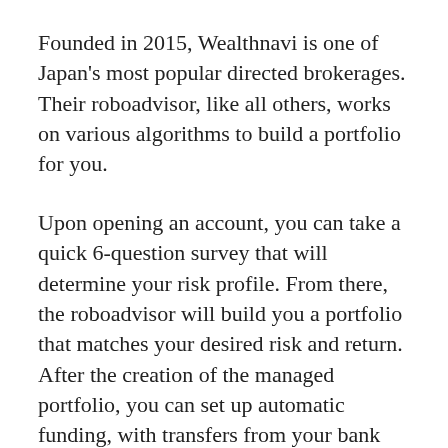Founded in 2015, Wealthnavi is one of Japan's most popular directed brokerages. Their roboadvisor, like all others, works on various algorithms to build a portfolio for you.
Upon opening an account, you can take a quick 6-question survey that will determine your risk profile. From there, the roboadvisor will build you a portfolio that matches your desired risk and return. After the creation of the managed portfolio, you can set up automatic funding, with transfers from your bank account on a monthly, semi-annual, or annual basis to be automatically invested by the roboadvisor.